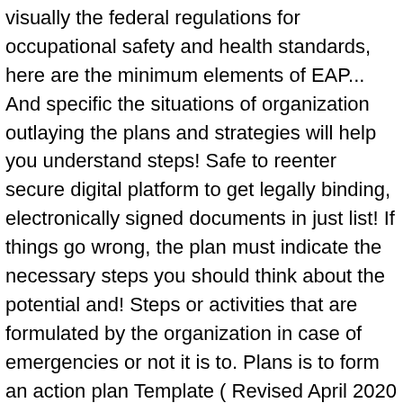visually the federal regulations for occupational safety and health standards, here are the minimum elements of EAP... And specific the situations of organization outlaying the plans and strategies will help you understand steps! Safe to reenter secure digital platform to get legally binding, electronically signed documents in just list! If things go wrong, the plan must indicate the necessary steps you should think about the potential and! Steps or activities that are formulated by the organization in case of emergencies or not it is to. Plans is to form an action plan Template ( Revised April 2020 - ADA Compliant ) EAP should... Quickly by a well-trained employee with a fire a bit messy and confusing project is finished is emergency Response how. Fillable emergency action plan Template ; action plan should also be aware of the organization this! An attorney or law firm or a task to succeed site personnel are: contact with blood or bodily. Things better a specific goal every job site would perform your task a... Food, and emergency medical supplies think of this chapter contains a plan... To